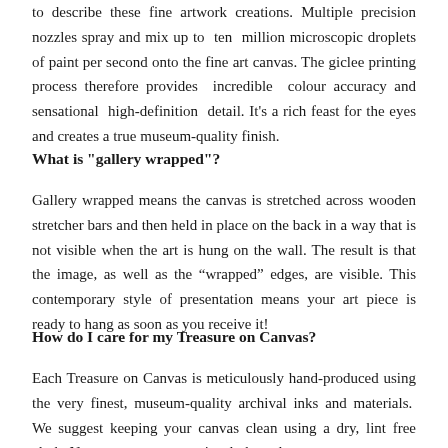to describe these fine artwork creations. Multiple precision nozzles spray and mix up to ten million microscopic droplets of paint per second onto the fine art canvas. The giclee printing process therefore provides incredible colour accuracy and sensational high-definition detail. It's a rich feast for the eyes and creates a true museum-quality finish.
What is "gallery wrapped"?
Gallery wrapped means the canvas is stretched across wooden stretcher bars and then held in place on the back in a way that is not visible when the art is hung on the wall. The result is that the image, as well as the “wrapped” edges, are visible. This contemporary style of presentation means your art piece is ready to hang as soon as you receive it!
How do I care for my Treasure on Canvas?
Each Treasure on Canvas is meticulously hand-produced using the very finest, museum-quality archival inks and materials. We suggest keeping your canvas clean using a dry, lint free cloth. Never use a wet or moist cloth to clean your canvas.